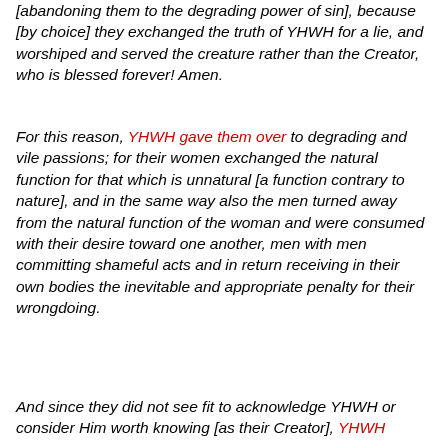[abandoning them to the degrading power of sin], because [by choice] they exchanged the truth of YHWH for a lie, and worshiped and served the creature rather than the Creator, who is blessed forever! Amen.
For this reason, YHWH gave them over to degrading and vile passions; for their women exchanged the natural function for that which is unnatural [a function contrary to nature], and in the same way also the men turned away from the natural function of the woman and were consumed with their desire toward one another, men with men committing shameful acts and in return receiving in their own bodies the inevitable and appropriate penalty for their wrongdoing.
And since they did not see fit to acknowledge YHWH or consider Him worth knowing [as their Creator], YHWH